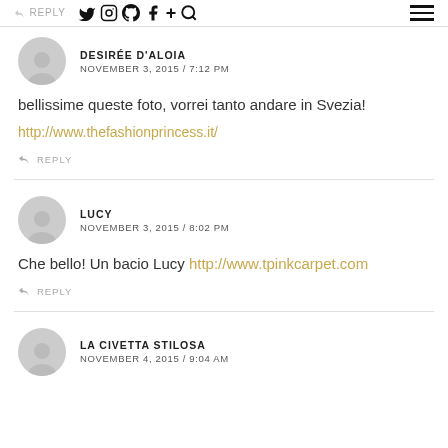REPLY | Twitter | Instagram | Pinterest | Facebook | + | Search | Menu
DESIRÉE D'ALOIA
NOVEMBER 3, 2015 / 7:12 PM
bellissime queste foto, vorrei tanto andare in Svezia!
http://www.thefashionprincess.it/
REPLY
LUCY
NOVEMBER 3, 2015 / 8:02 PM
Che bello! Un bacio Lucy http://www.tpinkcarpet.com
REPLY
LA CIVETTA STILOSA
NOVEMBER 4, 2015 / 9:04 AM